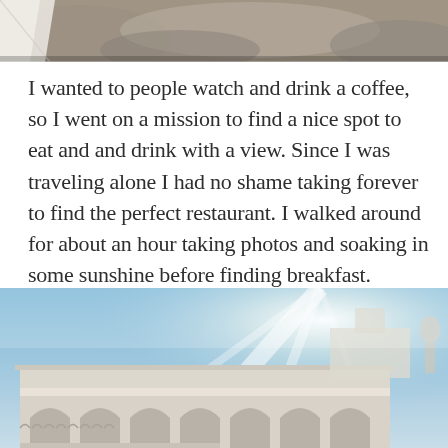[Figure (photo): Partial photo at top of page showing rocky/sandy terrain with a white fabric or tent edge visible at the left]
I wanted to people watch and drink a coffee, so I went on a mission to find a nice spot to eat and and drink with a view. Since I was traveling alone I had no shame taking forever to find the perfect restaurant. I walked around for about an hour taking photos and soaking in some sunshine before finding breakfast.
[Figure (photo): Photo of a Mediterranean-style building with arched colonnades and a blue sky with bright sun rays, a statue visible at the right edge]